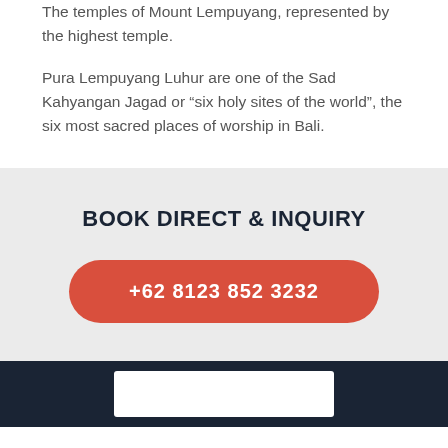The temples of Mount Lempuyang, represented by the highest temple.
Pura Lempuyang Luhur are one of the Sad Kahyangan Jagad or “six holy sites of the world”, the six most sacred places of worship in Bali.
BOOK DIRECT & INQUIRY
+62 8123 852 3232